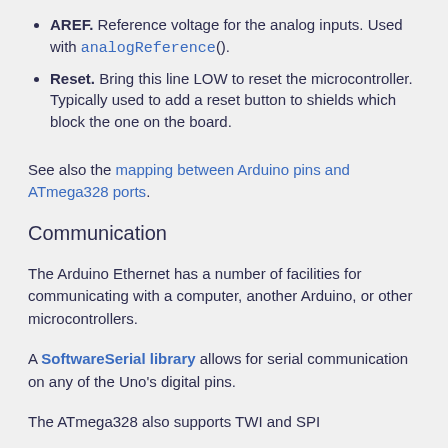AREF. Reference voltage for the analog inputs. Used with analogReference().
Reset. Bring this line LOW to reset the microcontroller. Typically used to add a reset button to shields which block the one on the board.
See also the mapping between Arduino pins and ATmega328 ports.
Communication
The Arduino Ethernet has a number of facilities for communicating with a computer, another Arduino, or other microcontrollers.
A SoftwareSerial library allows for serial communication on any of the Uno's digital pins.
The ATmega328 also supports TWI and SPI